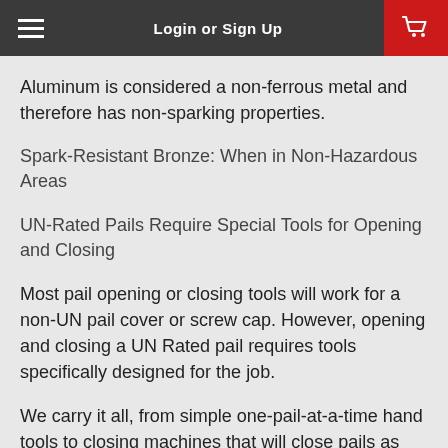Login or Sign Up
Aluminum is considered a non-ferrous metal and therefore has non-sparking properties.
Spark-Resistant Bronze: When in Non-Hazardous Areas
UN-Rated Pails Require Special Tools for Opening and Closing
Most pail opening or closing tools will work for a non-UN pail cover or screw cap. However, opening and closing a UN Rated pail requires tools specifically designed for the job.
We carry it all, from simple one-pail-at-a-time hand tools to closing machines that will close pails as part of a production process. Many are available in non-sparking or spark-resistant materials.
Opening a Non-UN or UN-Rated Pail
Any pail wrench will open your drum, but closing a UN-rated bucket requires a special tool. For that you need to use a torque wrench